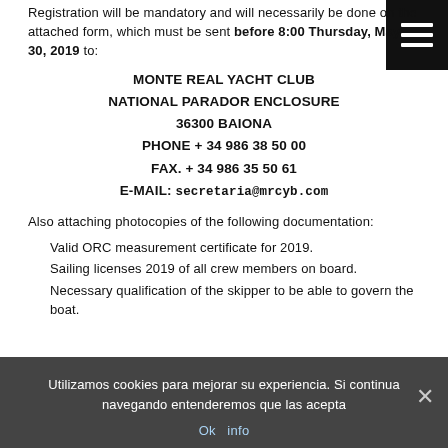Registration will be mandatory and will necessarily be done on the attached form, which must be sent before 8:00 Thursday, May 30, 2019 to:
MONTE REAL YACHT CLUB
NATIONAL PARADOR ENCLOSURE
36300 BAIONA
PHONE + 34 986 38 50 00
FAX. + 34 986 35 50 61
E-MAIL: secretaria@mrcyb.com
Also attaching photocopies of the following documentation:
Valid ORC measurement certificate for 2019.
Sailing licenses 2019 of all crew members on board.
Necessary qualification of the skipper to be able to govern the boat.
Utilizamos cookies para mejorar su experiencia. Si continua navegando entenderemos que las acepta
Ok   info